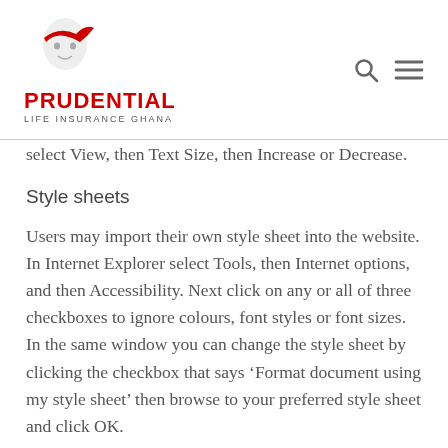PRUDENTIAL LIFE INSURANCE GHANA
select View, then Text Size, then Increase or Decrease.
Style sheets
Users may import their own style sheet into the website. In Internet Explorer select Tools, then Internet options, and then Accessibility. Next click on any or all of three checkboxes to ignore colours, font styles or font sizes. In the same window you can change the style sheet by clicking the checkbox that says ‘Format document using my style sheet’ then browse to your preferred style sheet and click OK.